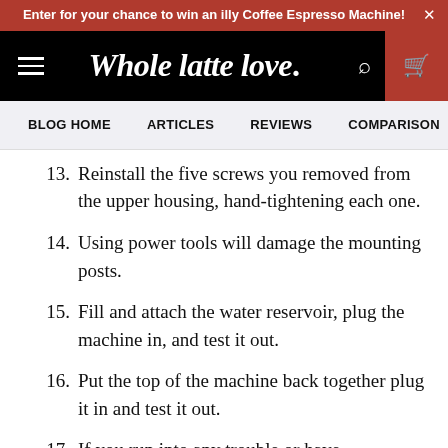Enter for your chance to win an illy Coffee Espresso Machine! ×
Whole latte love.
BLOG HOME   ARTICLES   REVIEWS   COMPARISON
13. Reinstall the five screws you removed from the upper housing, hand-tightening each one.
14. Using power tools will damage the mounting posts.
15. Fill and attach the water reservoir, plug the machine in, and test it out.
16. Put the top of the machine back together plug it in and test it out.
17. If you run into any trouble or have